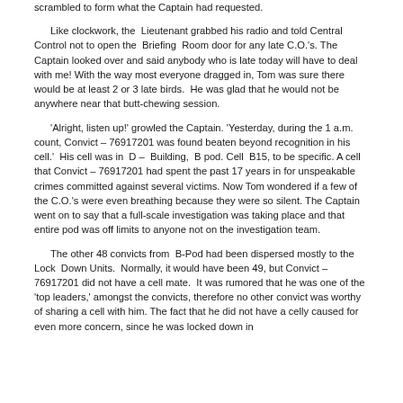scrambled to form what the Captain had requested.
Like clockwork, the Lieutenant grabbed his radio and told Central Control not to open the Briefing Room door for any late C.O.'s. The Captain looked over and said anybody who is late today will have to deal with me! With the way most everyone dragged in, Tom was sure there would be at least 2 or 3 late birds. He was glad that he would not be anywhere near that butt-chewing session.
'Alright, listen up!' growled the Captain. 'Yesterday, during the 1 a.m. count, Convict – 76917201 was found beaten beyond recognition in his cell.' His cell was in D – Building, B pod. Cell B15, to be specific. A cell that Convict – 76917201 had spent the past 17 years in for unspeakable crimes committed against several victims. Now Tom wondered if a few of the C.O.'s were even breathing because they were so silent. The Captain went on to say that a full-scale investigation was taking place and that entire pod was off limits to anyone not on the investigation team.
The other 48 convicts from B-Pod had been dispersed mostly to the Lock Down Units. Normally, it would have been 49, but Convict – 76917201 did not have a cell mate. It was rumored that he was one of the 'top leaders,' amongst the convicts, therefore no other convict was worthy of sharing a cell with him. The fact that he did not have a celly caused for even more concern, since he was locked down in